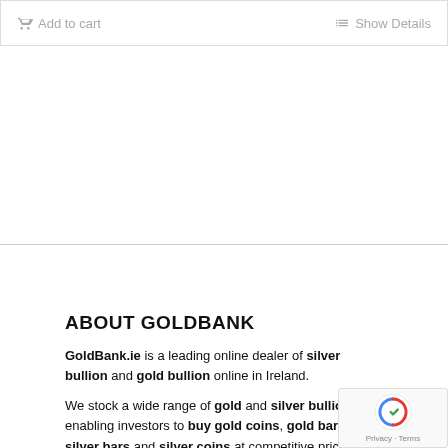[Figure (screenshot): Top bar with 'Add to cart' and 'Show Details' buttons in light gray]
ABOUT GOLDBANK
GoldBank.ie is a leading online dealer of silver bullion and gold bullion online in Ireland.
We stock a wide range of gold and silver bullion, enabling investors to buy gold coins, gold bars, silver bars and silver coins at competitive prices.
We offer low premiums and quick trade execution for large and small investors to suit their investment needs. Our online secure platform allows you to buy gold online from GoldBank.ie with complete security.
Goldbank is registered with the Companies Registration Office under company number 412154. Gold bullion